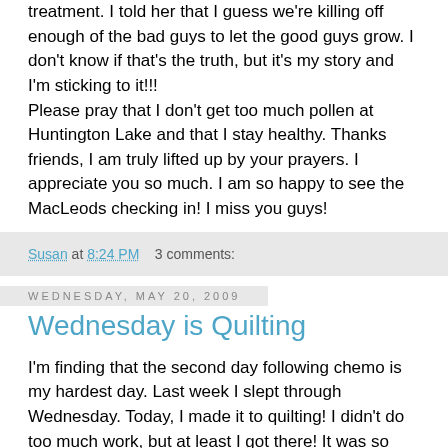treatment. I told her that I guess we're killing off enough of the bad guys to let the good guys grow. I don't know if that's the truth, but it's my story and I'm sticking to it!!! Please pray that I don't get too much pollen at Huntington Lake and that I stay healthy. Thanks friends, I am truly lifted up by your prayers. I appreciate you so much. I am so happy to see the MacLeods checking in! I miss you guys!
Susan at 8:24 PM   3 comments:
Wednesday, May 20, 2009
Wednesday is Quilting
I'm finding that the second day following chemo is my hardest day. Last week I slept through Wednesday. Today, I made it to quilting! I didn't do too much work, but at least I got there! It was so great to see the ladies; it felt like a great big hug! I make it to quilting only about twice a year, but these ladies make me feel so loved and welcome. When I got home, I had the best potato soup ala Niece